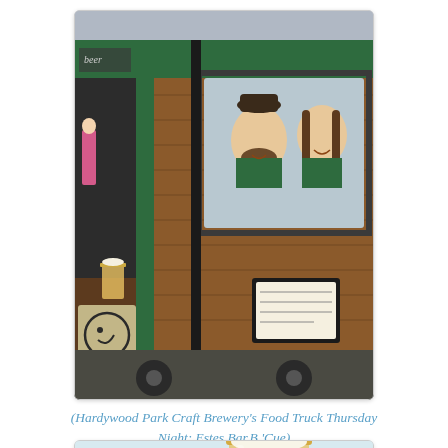[Figure (photo): A wooden food truck with green trim. Two people wearing green aprons are leaning out of the service window, smiling. A beer glass is visible on the counter. There is a circular logo on the side panel and a menu board. A person in a pink jacket is visible in the background.]
(Hardywood Park Craft Brewery's Food Truck Thursday Night: Estes Bar.B.'Cue)
[Figure (photo): Partial view of a beer glass with golden liquid, photographed from close range against a light blue/white background.]